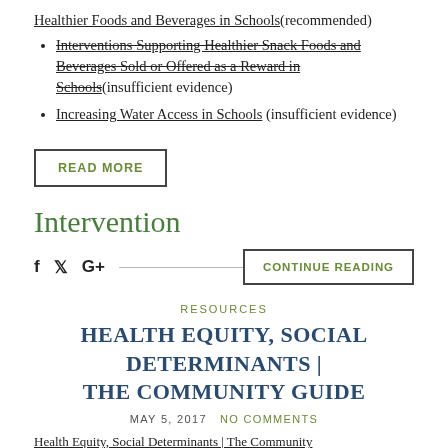Healthier Foods and Beverages in Schools(recommended)
Interventions Supporting Healthier Snack Foods and Beverages Sold or Offered as a Reward in Schools(insufficient evidence)
Increasing Water Access in Schools (insufficient evidence)
READ MORE
Intervention
f  [twitter]  G+  ——  CONTINUE READING
RESOURCES
HEALTH EQUITY, SOCIAL DETERMINANTS | THE COMMUNITY GUIDE
MAY 5, 2017  NO COMMENTS
Health Equity, Social Determinants | The Community